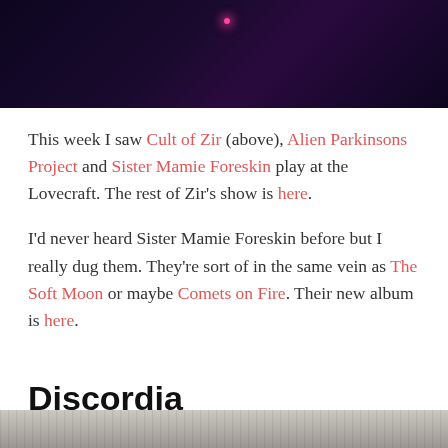[Figure (photo): Dark purple/black concert photo with a pink/red light dot visible]
This week I saw Cult of Zir (above), Alien Parkinsons Project and Sister Mamie Foreskin play at the Lovecraft. The rest of Zir's show is here.
I'd never heard Sister Mamie Foreskin before but I really dug them. They're sort of in the same vein as The Soft Moon or maybe Comets on Fire. Their new album is here.
Discordia
JANUARY 20, 2013
[Figure (photo): Partial bottom image, appears to be a grainy/textured black and white photo]